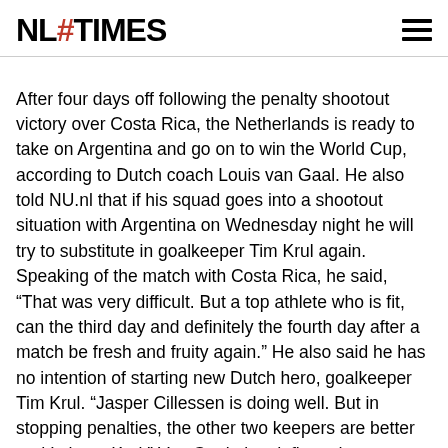NL TIMES
After four days off following the penalty shootout victory over Costa Rica, the Netherlands is ready to take on Argentina and go on to win the World Cup, according to Dutch coach Louis van Gaal. He also told NU.nl that if his squad goes into a shootout situation with Argentina on Wednesday night he will try to substitute in goalkeeper Tim Krul again. Speaking of the match with Costa Rica, he said, “That was very difficult. But a top athlete who is fit, can the third day and definitely the fourth day after a match be fresh and fruity again.” He also said he has no intention of starting new Dutch hero, goalkeeper Tim Krul. “Jasper Cillessen is doing well. But in stopping penalties, the other two keepers are better and I chose Krul.” Van Gaal also deflected away praise for making the unconventional choice of substituting goalkeepers at the last minute against Costa Rica, saying the players deserve all the credit. He said the players have made good, fast decisions